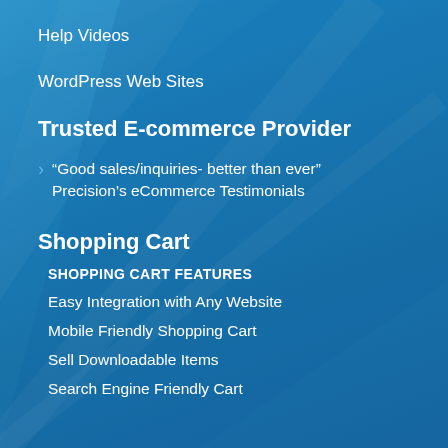Help Videos
WordPress Web Sites
Trusted E-commerce Provider
“Good sales/inquiries- better than ever” Precision’s eCommerce Testimonials
Shopping Cart
SHOPPING CART FEATURES
Easy Integration with Any Website
Mobile Friendly Shopping Cart
Sell Downloadable Items
Search Engine Friendly Cart